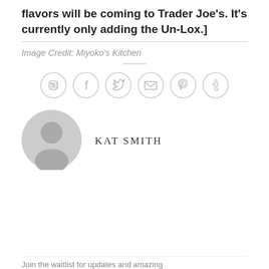flavors will be coming to Trader Joe's. It's currently only adding the Un-Lox.]
Image Credit: Miyoko's Kitchen
[Figure (infographic): Row of six circular social sharing icons: WhatsApp, Facebook, Twitter, Email, Pinterest, Tumblr]
[Figure (illustration): Gray circular user avatar placeholder with a silhouette icon]
KAT SMITH
Join the waitlist for updates and amazing